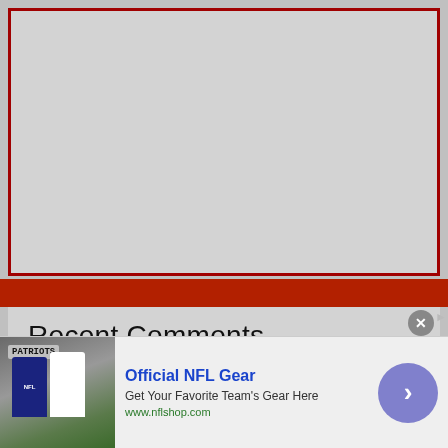[Figure (other): Large gray placeholder image area with dark red border]
Recent Comments
DoninAjax on Thinkin’ Out Loud at Watkins
[Figure (other): Advertisement banner: Official NFL Gear - Get Your Favorite Team's Gear Here - www.nflshop.com, with NFL team apparel image on left and arrow button on right]